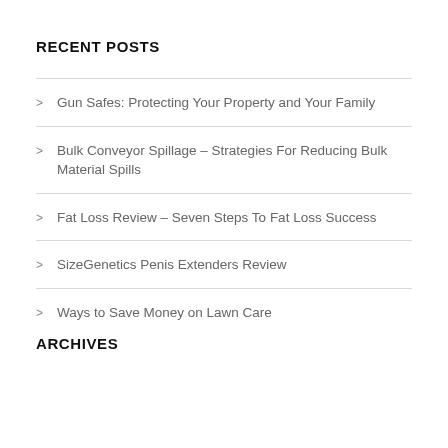RECENT POSTS
Gun Safes: Protecting Your Property and Your Family
Bulk Conveyor Spillage – Strategies For Reducing Bulk Material Spills
Fat Loss Review – Seven Steps To Fat Loss Success
SizeGenetics Penis Extenders Review
Ways to Save Money on Lawn Care
ARCHIVES